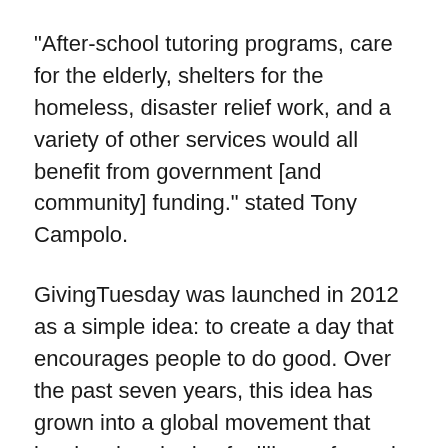“After-school tutoring programs, care for the elderly, shelters for the homeless, disaster relief work, and a variety of other services would all benefit from government [and community] funding.” stated Tony Campolo.
GivingTuesday was launched in 2012 as a simple idea: to create a day that encourages people to do good. Over the past seven years, this idea has grown into a global movement that inspires hundreds of millions of people to give, collaborate, and celebrate generosity.
People demonstrate generosity in many ways on GivingTuesday. Whether it’s helping a neighbor or stranger out, showing up for an issue or people we care about, or